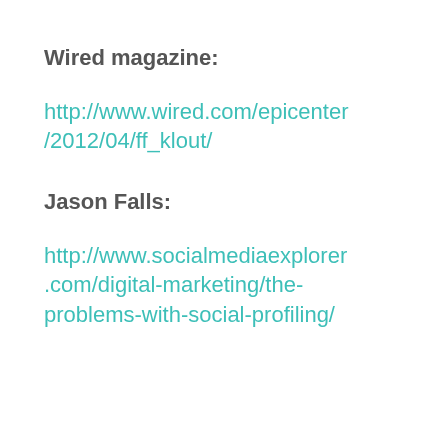Wired magazine:
http://www.wired.com/epicenter/2012/04/ff_klout/
Jason Falls:
http://www.socialmediaexplorer.com/digital-marketing/the-problems-with-social-profiling/